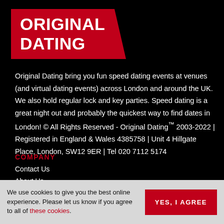[Figure (logo): Original Dating logo — white text on red angled background]
Original Dating bring you fun speed dating events at venues (and virtual dating events) across London and around the UK. We also hold regular lock and key parties. Speed dating is a great night out and probably the quickest way to find dates in London! © All Rights Reserved - Original Dating™ 2003-2022 | Registered in England & Wales 4385758 | Unit 4 Hillgate Place, London, SW12 9ER | Tel 020 7112 5174
COMPANY
Contact Us
About Us
We use cookies to give you the best online experience. Please let us know if you agree to all of these cookies.